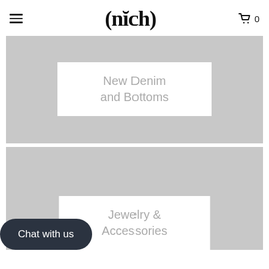(nich)
[Figure (screenshot): Gray banner image placeholder for New Denim and Bottoms category]
New Denim and Bottoms
[Figure (screenshot): Gray banner image placeholder for Jewelry & Accessories category]
Jewelry & Accessories
Chat with us